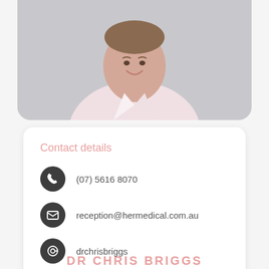[Figure (photo): Professional headshot of a smiling man in a light pink button-up shirt against a grey background]
Contact details
(07) 5616 8070
reception@hermedical.com.au
drchrisbriggs
DR CHRIS BRIGGS